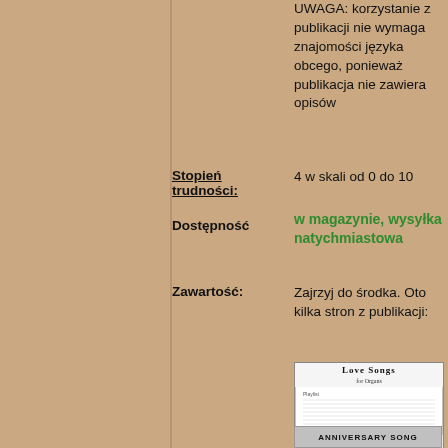UWAGA: korzystanie z publikacji nie wymaga znajomości języka obcego, ponieważ publikacja nie zawiera opisów
Stopień trudności: 4 w skali od 0 do 10
Dostępność w magazynie, wysyłka natychmiastowa
Zawartość: Zajrzyj do środka. Oto kilka stron z publikacji:
[Figure (photo): Thumbnail image of a music book titled 'Love Songs' showing table of contents and sheet music page with 'Anniversary Song' label at bottom]